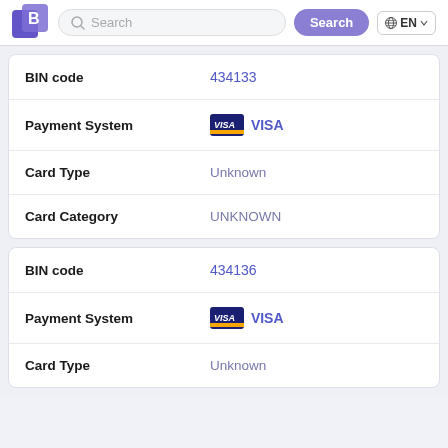Search EN
| Field | Value |
| --- | --- |
| BIN code | 434133 |
| Payment System | VISA |
| Card Type | Unknown |
| Card Category | UNKNOWN |
| Field | Value |
| --- | --- |
| BIN code | 434136 |
| Payment System | VISA |
| Card Type | Unknown |